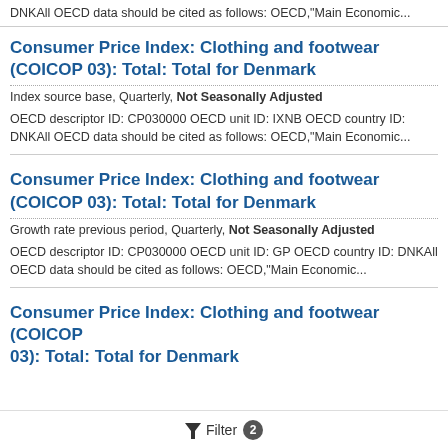DNKAll OECD data should be cited as follows: OECD,"Main Economic...
Consumer Price Index: Clothing and footwear (COICOP 03): Total: Total for Denmark
Index source base, Quarterly, Not Seasonally Adjusted
OECD descriptor ID: CP030000 OECD unit ID: IXNB OECD country ID: DNKAll OECD data should be cited as follows: OECD,"Main Economic...
Consumer Price Index: Clothing and footwear (COICOP 03): Total: Total for Denmark
Growth rate previous period, Quarterly, Not Seasonally Adjusted
OECD descriptor ID: CP030000 OECD unit ID: GP OECD country ID: DNKAll OECD data should be cited as follows: OECD,"Main Economic...
Consumer Price Index: Clothing and footwear (COICOP 03): Total: Total for Denmark
Filter 2